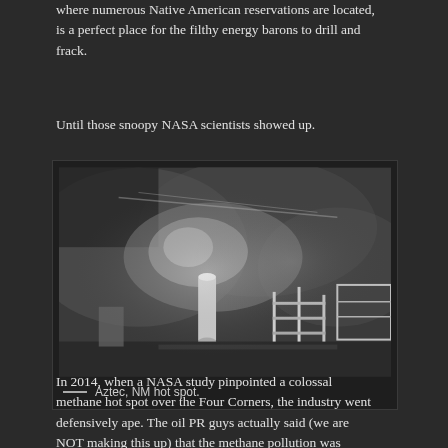where numerous Native American reservations are located, is a perfect place for the filthy energy barons to drill and frack.
Until those snoopy NASA scientists showed up.
[Figure (photo): Thermal infrared image of an oil and gas facility showing methane emissions near Aztec, NM hot spot. The image is grayscale/thermal showing industrial equipment with visible gas plumes.]
Aztec, NM hot spot.
In 2014, when a NASA study pinpointed a colossal methane hot spot over the Four Corners, the industry went defensively ape. The oil PR guys actually said (we are NOT making this up) that the methane pollution was